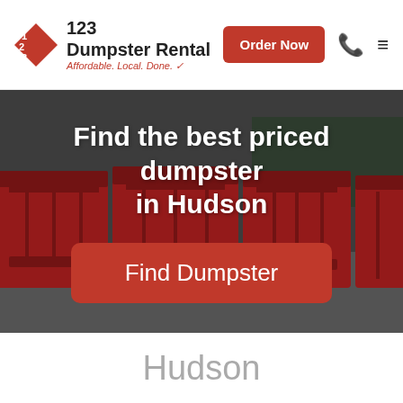[Figure (logo): 123 Dumpster Rental logo with diamond shape and tagline 'Affordable. Local. Done.']
Order Now
[Figure (photo): Row of red dumpsters in a parking lot with trees in background]
Find the best priced dumpster in Hudson
Find Dumpster
Hudson